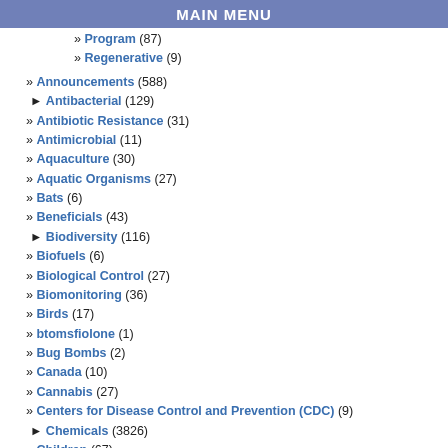MAIN MENU
» Program (87)
» Regenerative (9)
» Announcements (588)
► Antibacterial (129)
» Antibiotic Resistance (31)
» Antimicrobial (11)
» Aquaculture (30)
» Aquatic Organisms (27)
» Bats (6)
» Beneficials (43)
► Biodiversity (116)
» Biofuels (6)
» Biological Control (27)
» Biomonitoring (36)
» Birds (17)
» btomsfiolone (1)
» Bug Bombs (2)
» Canada (10)
» Cannabis (27)
» Centers for Disease Control and Prevention (CDC) (9)
► Chemicals (3826)
» Children (67)
» Children/Schools (230)
» cicadas (1)